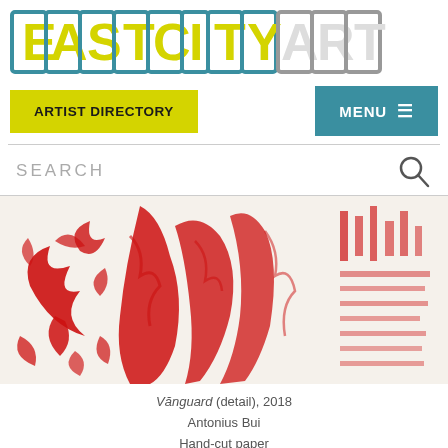EASTCITYART
ARTIST DIRECTORY
MENU
SEARCH
[Figure (photo): Artwork photo: Vănguard (detail), 2018 by Antonius Bui. Red hand-cut paper artwork showing intricate botanical and figurative patterns in red on white.]
Vănguard (detail), 2018
Antonius Bui
Hand-cut paper
Dimensions vary
Photo for East City Art by Eric Hope.